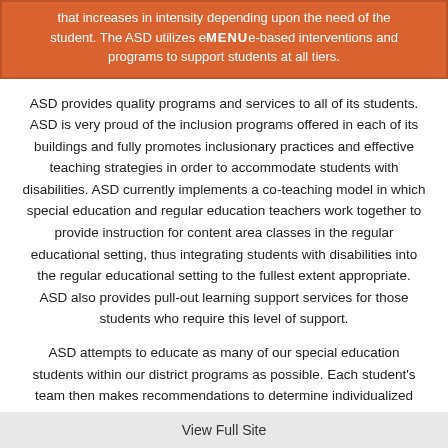that increases in intensity depending upon the need of the student. The ASD utilizes evidence-based interventions and programs to support students at all tiers.
ASD provides quality programs and services to all of its students. ASD is very proud of the inclusion programs offered in each of its buildings and fully promotes inclusionary practices and effective teaching strategies in order to accommodate students with disabilities. ASD currently implements a co-teaching model in which special education and regular education teachers work together to provide instruction for content area classes in the regular educational setting, thus integrating students with disabilities into the regular educational setting to the fullest extent appropriate. ASD also provides pull-out learning support services for those students who require this level of support.
ASD attempts to educate as many of our special education students within our district programs as possible. Each student's team then makes recommendations to determine individualized...
View Full Site